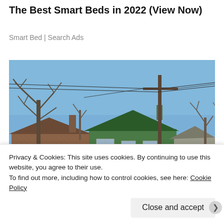The Best Smart Beds in 2022 (View Now)
Smart Bed | Search Ads
[Figure (photo): Street-level photograph of several old, run-down houses with bare trees and a utility pole against a blue sky. Houses appear weathered; one is painted green.]
Privacy & Cookies: This site uses cookies. By continuing to use this website, you agree to their use.
To find out more, including how to control cookies, see here: Cookie Policy
Close and accept